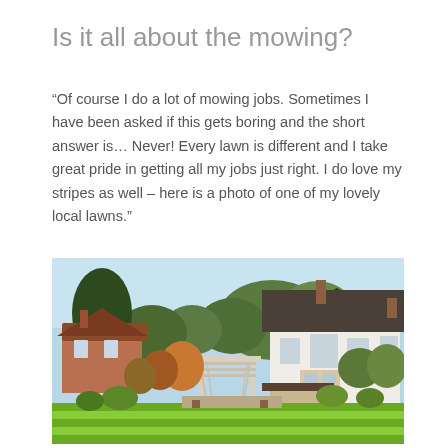Is it all about the mowing?
“Of course I do a lot of mowing jobs. Sometimes I have been asked if this gets boring and the short answer is… Never! Every lawn is different and I take great pride in getting all my jobs just right. I do love my stripes as well – here is a photo of one of my lovely local lawns.”
[Figure (photo): A photograph of a well-maintained English garden with neatly striped lawn in the foreground, a white period house with dark roof on the right, brick buildings on the left, trees in the background, and a white wooden pergola structure in the middle.]